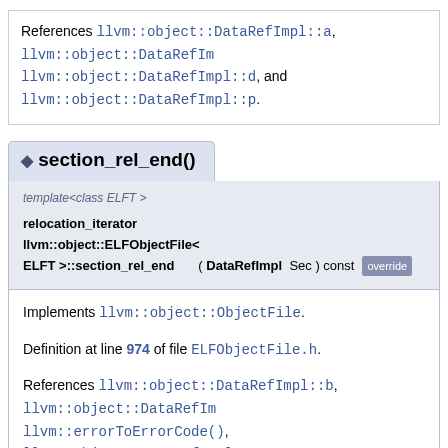References llvm::object::DataRefImpl::a, llvm::object::DataRefImpl::d, and llvm::object::DataRefImpl::p.
section_rel_end()
template<class ELFT > relocation_iterator llvm::object::ELFObjectFile< ELFT >::section_rel_end ( DataRefImpl Sec ) const override
Implements llvm::object::ObjectFile.
Definition at line 974 of file ELFObjectFile.h.
References llvm::object::DataRefImpl::b, llvm::object::DataRefImpl::, llvm::errorToErrorCode(), llvm::object::DataRefImpl::p, llvm::report_fatal_error(), S, llvm::ELF::SHT_REL, and llvm::ELF::SHT_RELA.